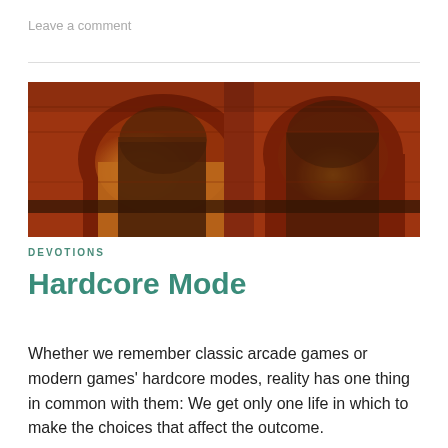Leave a comment
[Figure (photo): Photograph of a brick dungeon or cellar interior with arched stone windows and warm amber/orange lighting, showing aged red brick walls and dark wooden ledges.]
DEVOTIONS
Hardcore Mode
Whether we remember classic arcade games or modern games' hardcore modes, reality has one thing in common with them: We get only one life in which to make the choices that affect the outcome.